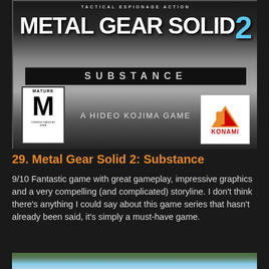[Figure (photo): Metal Gear Solid 2: Substance game cover art showing the title in large white and blue text, ESRB Mature rating, 'A Hideo Kojima Game' text, and Konami logo]
29. Metal Gear Solid 2: Substance
9/10 Fantastic game with great gameplay, impressive graphics and a very compelling (and complicated) storyline. I don't think there's anything I could say about this game series that hasn't already been said, it's simply a must-have game.
[Figure (photo): Bottom portion of another game cover showing a racing game with cars including a yellow car and purple truck near the Eiffel Tower]